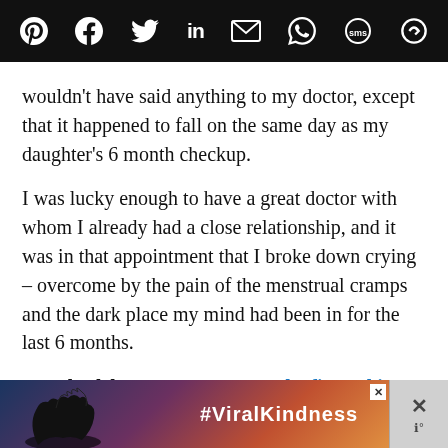Social share bar with icons: Pinterest, Facebook, Twitter, LinkedIn, Email, WhatsApp, SMS, other
wouldn’t have said anything to my doctor, except that it happened to fall on the same day as my daughter’s 6 month checkup.
I was lucky enough to have a great doctor with whom I already had a close relationship, and it was in that appointment that I broke down crying – overcome by the pain of the menstrual cramps and the dark place my mind had been in for the last 6 months.
Based solely on my symptoms, he figured it was endometriosis that was causing the pain
[Figure (photo): Advertisement banner showing two hands forming a heart shape silhouette against a colorful sunset sky, with text #ViralKindness]